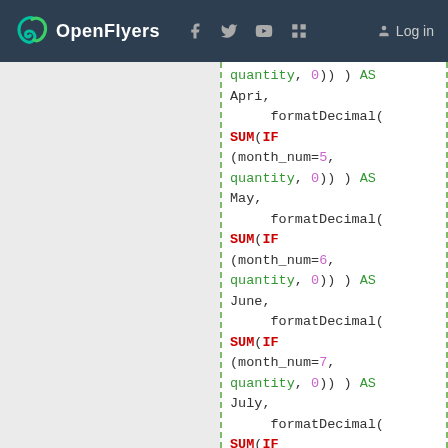OpenFlyers | Log in
Code block showing SQL-like formatDecimal/SUM/IF expressions for months April through September